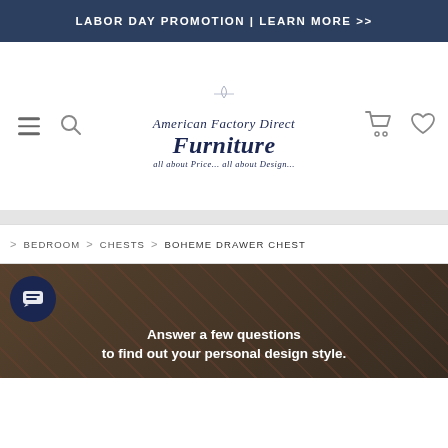LABOR DAY PROMOTION | LEARN MORE >>
[Figure (logo): American Factory Direct Furniture logo with script and italic serif text, tagline: all about Price... all about Design...]
BEDROOM > CHESTS > BOHEME DRAWER CHEST
Answer a few questions to find out your personal design style.